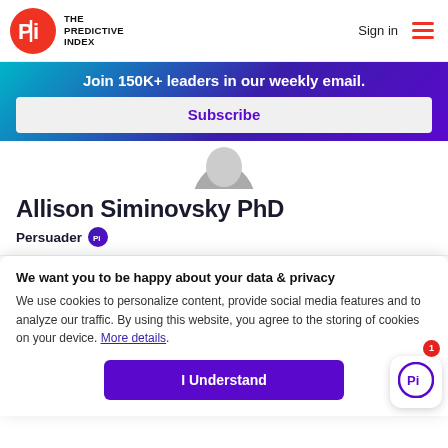[Figure (logo): The Predictive Index logo — red circle with PI text and hamburger menu, Sign in link in header]
Join 150K+ leaders in our weekly email.
Subscribe
Allison Siminovsky PhD
Persuader
We want you to be happy about your data & privacy
We use cookies to personalize content, provide social media features and to analyze our traffic. By using this website, you agree to the storing of cookies on your device. More details.
I Understand